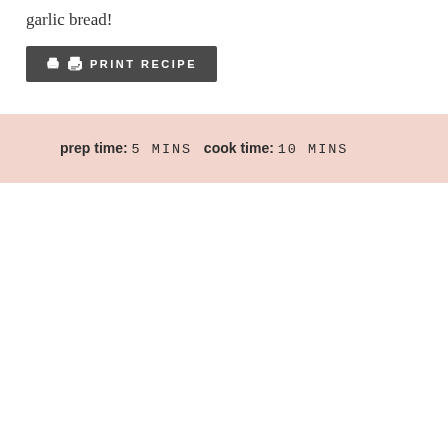garlic bread!
🖨 PRINT RECIPE
prep time: 5 MINS  cook time: 10 MINS